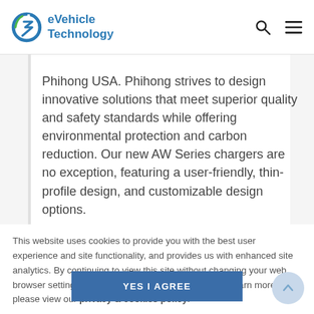eVehicle Technology
Phihong USA. Phihong strives to design innovative solutions that meet superior quality and safety standards while offering environmental protection and carbon reduction. Our new AW Series chargers are no exception, featuring a user-friendly, thin-profile design, and customizable design options.
This website uses cookies to provide you with the best user experience and site functionality, and provides us with enhanced site analytics. By continuing to view this site without changing your web browser settings, you agree to our use of cookies. To learn more, please view our privacy & cookies policy.
YES I AGREE